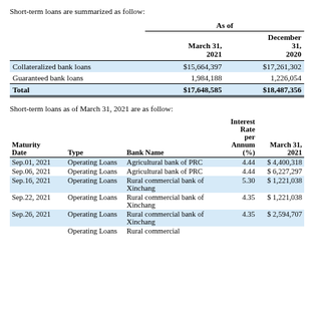Short-term loans are summarized as follow:
|  | March 31, 2021 | December 31, 2020 |
| --- | --- | --- |
| Collateralized bank loans | $15,664,397 | $17,261,302 |
| Guaranteed bank loans | 1,984,188 | 1,226,054 |
| Total | $17,648,585 | $18,487,356 |
Short-term loans as of March 31, 2021 are as follow:
| Maturity Date | Type | Bank Name | Interest Rate per Annum (%) | March 31, 2021 |
| --- | --- | --- | --- | --- |
| Sep.01, 2021 | Operating Loans | Agricultural bank of PRC | 4.44 | $ 4,400,318 |
| Sep.06, 2021 | Operating Loans | Agricultural bank of PRC | 4.44 | $ 6,227,297 |
| Sep.16, 2021 | Operating Loans | Rural commercial bank of Xinchang | 5.30 | $ 1,221,038 |
| Sep.22, 2021 | Operating Loans | Rural commercial bank of Xinchang | 4.35 | $ 1,221,038 |
| Sep.26, 2021 | Operating Loans | Rural commercial bank of Xinchang | 4.35 | $ 2,594,707 |
|  | Operating Loans | Rural commercial |  |  |